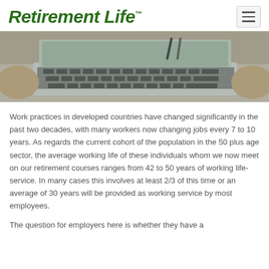Retirement Life™
[Figure (photo): Close-up photo of a laptop keyboard with a person's hands and a pen visible, viewed from the side/above]
Work practices in developed countries have changed significantly in the past two decades, with many workers now changing jobs every 7 to 10 years. As regards the current cohort of the population in the 50 plus age sector, the average working life of these individuals whom we now meet on our retirement courses ranges from 42 to 50 years of working life-service. In many cases this involves at least 2/3 of this time or an average of 30 years will be provided as working service by most employees.
The question for employers here is whether they have a